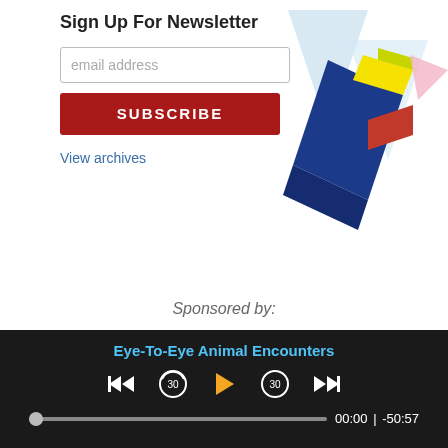Sign Up For Newsletter
email address
SUBSCRIBE
View archives
[Figure (illustration): Colorful geometric diamond/chevron logo with blue, yellow, lime green, red, pink segments on light blue background]
Sponsored by:
[Figure (logo): CAP TIMES IDEA text logo on white with a green lightning bolt map pin icon and a green advertisement box with CHANGE. text and close X button]
Eye-To-Eye Animal Encounters
00:00 | -50:57